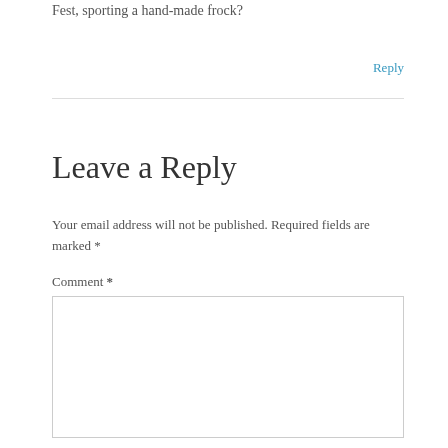Fest, sporting a hand-made frock?
Reply
Leave a Reply
Your email address will not be published. Required fields are marked *
Comment *